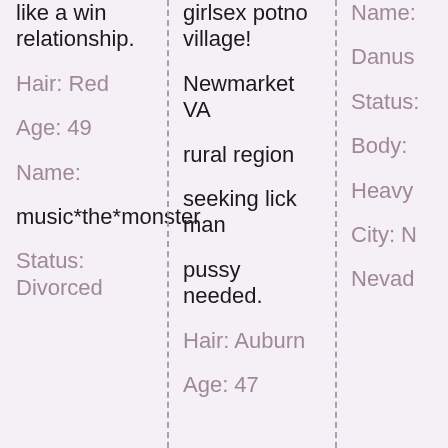like a win relationship.
Hair: Red
Age: 49
Name:
music*the*monster
Status: Divorced
girlsex potno village!
Newmarket VA
rural region
seeking lick man
pussy needed.
Hair: Auburn
Age: 47
Name:
Danus
Status:
Body:
Heavy
City: N
Nevad